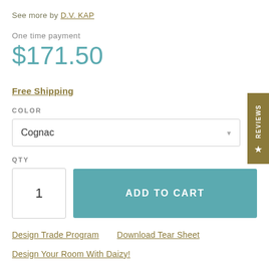See more by D.V. KAP
One time payment
$171.50
Free Shipping
COLOR
Cognac
QTY
1
ADD TO CART
Design Trade Program
Download Tear Sheet
Design Your Room With Daizy!
REVIEWS